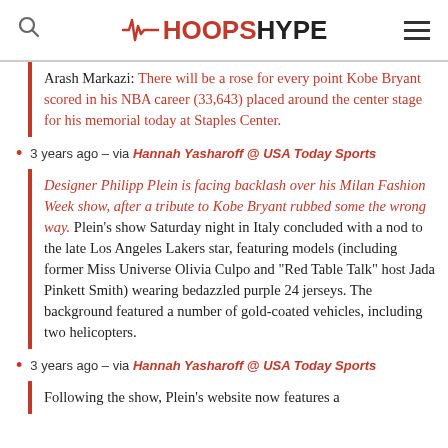HoopsHype
Arash Markazi: There will be a rose for every point Kobe Bryant scored in his NBA career (33,643) placed around the center stage for his memorial today at Staples Center.
3 years ago – via Hannah Yasharoff @ USA Today Sports
Designer Philipp Plein is facing backlash over his Milan Fashion Week show, after a tribute to Kobe Bryant rubbed some the wrong way. Plein's show Saturday night in Italy concluded with a nod to the late Los Angeles Lakers star, featuring models (including former Miss Universe Olivia Culpo and "Red Table Talk" host Jada Pinkett Smith) wearing bedazzled purple 24 jerseys. The background featured a number of gold-coated vehicles, including two helicopters.
3 years ago – via Hannah Yasharoff @ USA Today Sports
Following the show, Plein's website now features a